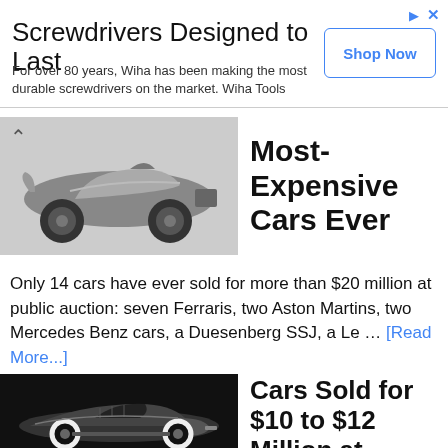[Figure (other): Advertisement banner for Wiha screwdrivers with Shop Now button]
Screwdrivers Designed to Last
For over 80 years, Wiha has been making the most durable screwdrivers on the market. Wiha Tools
[Figure (photo): Silver racing car viewed from the side on a light grey background, with a chevron/up-arrow on the left]
Most-Expensive Cars Ever
Only 14 cars have ever sold for more than $20 million at public auction: seven Ferraris, two Aston Martins, two Mercedes Benz cars, a Duesenberg SSJ, a Le … [Read More...]
[Figure (photo): Black and white photo of a classic vintage roadster car on black background]
Cars Sold for $10 to $12 Million at Public Auction